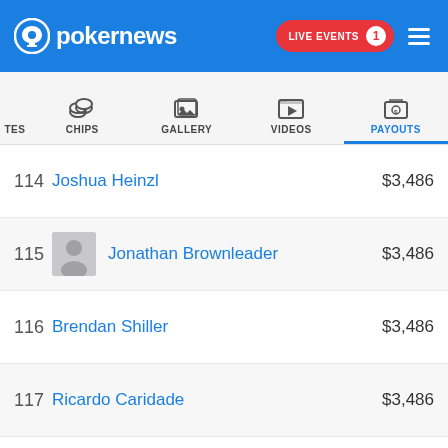pokernews — LIVE EVENTS 1
[Figure (screenshot): Navigation tabs: UPDATES (partial), CHIPS, GALLERY, VIDEOS, PAYOUTS (active/selected)]
| Rank | Name | Payout |
| --- | --- | --- |
| 114 | Joshua Heinzl | $3,486 |
| 115 | Jonathan Brownleader | $3,486 |
| 116 | Brendan Shiller | $3,486 |
| 117 | Ricardo Caridade | $3,486 |
| 118 | Clifford Nicholas | $3,486 |